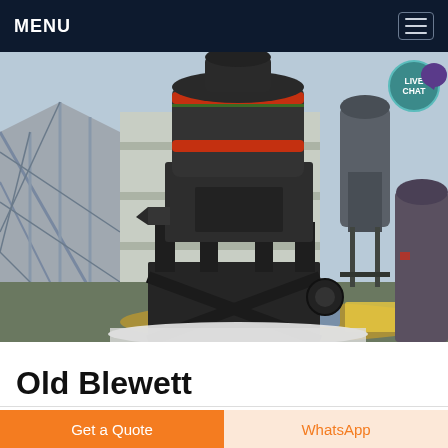MENU
[Figure (photo): Industrial grinding mill machine (large cylindrical vertical mill with orange accent bands) inside a factory hall, with steel structure framework, industrial dust collectors, and other machinery visible in the background. White granular material on the floor.]
Old Blewett
Get a Quote
WhatsApp